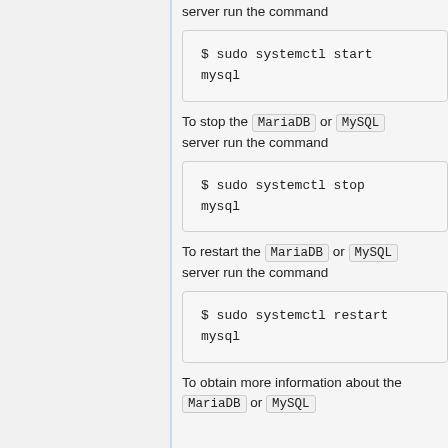server run the command
$ sudo systemctl start mysql
To stop the MariaDB or MySQL server run the command
$ sudo systemctl stop mysql
To restart the MariaDB or MySQL server run the command
$ sudo systemctl restart mysql
To obtain more information about the MariaDB or MySQL